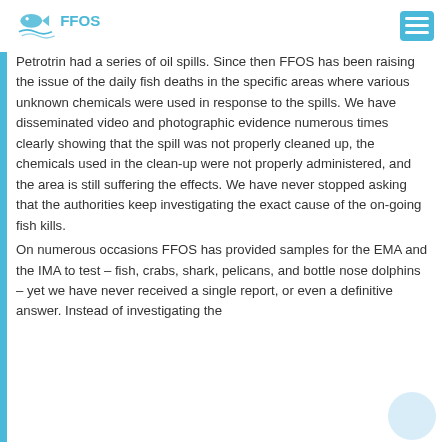FFOS logo and navigation menu
Petrotrin had a series of oil spills. Since then FFOS has been raising the issue of the daily fish deaths in the specific areas where various unknown chemicals were used in response to the spills. We have disseminated video and photographic evidence numerous times clearly showing that the spill was not properly cleaned up, the chemicals used in the clean-up were not properly administered, and the area is still suffering the effects. We have never stopped asking that the authorities keep investigating the exact cause of the on-going fish kills. On numerous occasions FFOS has provided samples for the EMA and the IMA to test – fish, crabs, shark, pelicans, and bottle nose dolphins – yet we have never received a single report, or even a definitive answer. Instead of investigating the